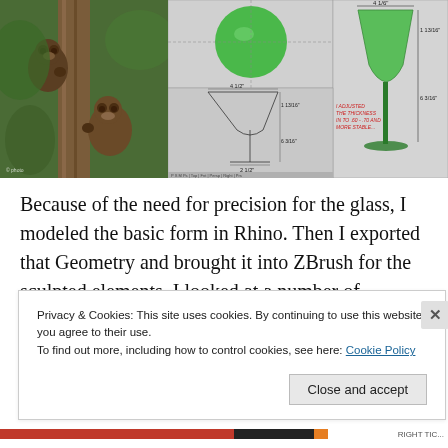[Figure (photo): Two brown bears climbing a tree in a forest with green foliage background]
[Figure (engineering-diagram): CAD/3D model views of a martini glass with dimensions labeled (4 1/6", 1 13/16", 6 3/16", 4 1/2", 2 1/2") shown in green and gray, multiple viewport views including top, front, and 3D perspective with red annotation text]
Because of the need for precision for the glass, I modeled the basic form in Rhino. Then I exported that Geometry and brought it into ZBrush for the sculpted elements. I looked at a number of materials from porcelain to steel to
Privacy & Cookies: This site uses cookies. By continuing to use this website, you agree to their use.
To find out more, including how to control cookies, see here: Cookie Policy
Close and accept